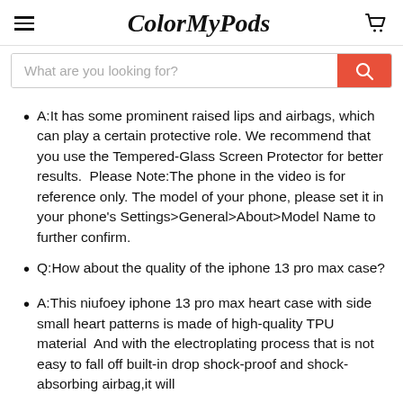ColorMyPods
A:It has some prominent raised lips and airbags, which can play a certain protective role. We recommend that you use the Tempered-Glass Screen Protector for better results.  Please Note:The phone in the video is for reference only. The model of your phone, please set it in your phone's Settings>General>About>Model Name to further confirm.
Q:How about the quality of the iphone 13 pro max case?
A:This niufoey iphone 13 pro max heart case with side small heart patterns is made of high-quality TPU material  And with the electroplating process that is not easy to fall off built-in drop shock-proof and shock-absorbing airbag,it will